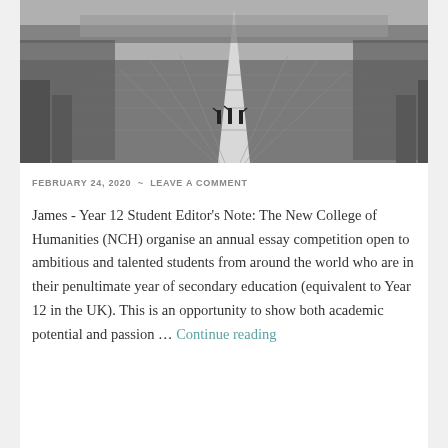[Figure (photo): Black and white aerial photograph of a large military or political rally, showing rows of people lined up in a vast open plaza with a central walkway leading into the distance. Three figures stand on a platform in the foreground giving salutes.]
FEBRUARY 24, 2020 ~ LEAVE A COMMENT
James - Year 12 Student Editor's Note: The New College of Humanities (NCH) organise an annual essay competition open to ambitious and talented students from around the world who are in their penultimate year of secondary education (equivalent to Year 12 in the UK). This is an opportunity to show both academic potential and passion … Continue reading